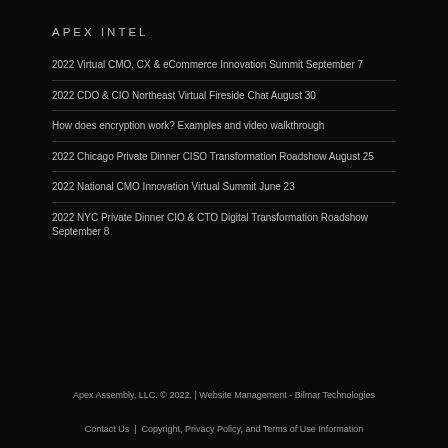APEX INTEL
2022 Virtual CMO, CX & eCommerce Innovation Summit September 7
2022 CDO & CIO Northeast Virtual Fireside Chat August 30
How does encryption work? Examples and video walkthrough
2022 Chicago Private Dinner CISO Transformation Roadshow August 25
2022 National CMO Innovation Virtual Summit June 23
2022 NYC Private Dinner CIO & CTO Digital Transformation Roadshow September 8
Apex Assembly, LLC. © 2022. | Website Management - Bilmar Technologies
Contact Us | Copyright, Privacy Policy, and Terms of Use Information